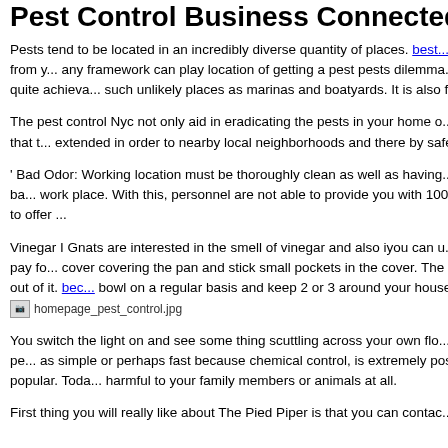Pest Control Business Connected With Comme...
Pests tend to be located in an incredibly diverse quantity of places. best... businesses have a tendency to attract probably the most attention from y... any framework can play location of getting a pest pests dilemma. For exa... in outside structures, as an example barns and sheds. It is quite achieva... such unlikely places as marinas and boatyards. It is also fairly prevalent ... living within dead or even dying timber and shrubs.
The pest control Nyc not only aid in eradicating the pests in your home o... not dare to be able to re-enter the house. They also make it a point that t... extended in order to nearby local neighborhoods and there by safeguard... community.
' Bad Odor: Working location must be thoroughly clean as well as having... interfere with your business place of work, then staff got disrupted as ba... work place. With this, personnel are not able to provide you with 100% q... corporation. So, oahu is the responsibility of the business owner to offer ...
Vinegar I Gnats are interested in the smell of vinegar and also iyou can u... shallow plastic-type bowl and also pour white wine vinegar in it to pay fo... cover covering the pan and stick small pockets in the cover. The gnats h... acquire in from the holes, to the bowl but are not able to get out of it. bec... bowl on a regular basis and keep 2 or 3 around your house, especially fr...
[Figure (photo): homepage_pest_control.jpg image placeholder]
You switch the light on and see some thing scuttling across your own flo... to have got poisons at home, around your family and animals. Natural pe... as simple or perhaps fast because chemical control, is extremely possible... control has become more effective as it has become more popular. Toda... harmful to your family members or animals at all.
First thing you will really like about The Pied Piper is that you can contac...